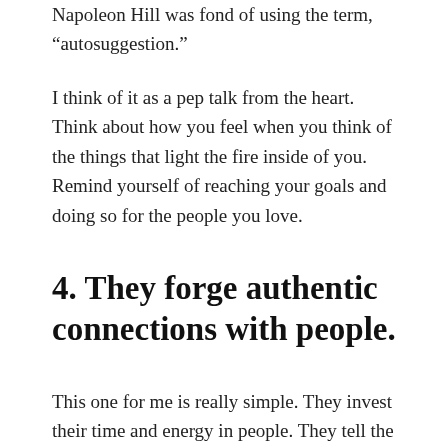Napoleon Hill was fond of using the term, “autosuggestion.”
I think of it as a pep talk from the heart. Think about how you feel when you think of the things that light the fire inside of you. Remind yourself of reaching your goals and doing so for the people you love.
4. They forge authentic connections with people.
This one for me is really simple. They invest their time and energy in people. They tell the people